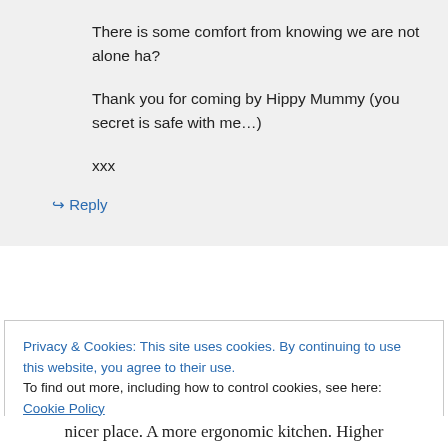There is some comfort from knowing we are not alone ha?

Thank you for coming by Hippy Mummy (you secret is safe with me…)

xxx
↳ Reply
Privacy & Cookies: This site uses cookies. By continuing to use this website, you agree to their use.
To find out more, including how to control cookies, see here: Cookie Policy
Close and accept
nicer place. A more ergonomic kitchen. Higher